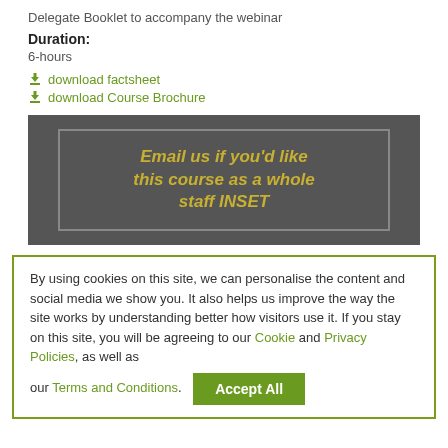Delegate Booklet to accompany the webinar
Duration:
6-hours
download factsheet
download Course Brochure
[Figure (illustration): Dark grey banner with yellow italic bold text reading 'Email us if you'd like this course as a whole staff INSET' with a faint white rectangle border overlay]
By using cookies on this site, we can personalise the content and social media we show you. It also helps us improve the way the site works by understanding better how visitors use it. If you stay on this site, you will be agreeing to our Cookie and Privacy Policies, as well as our Terms and Conditions.